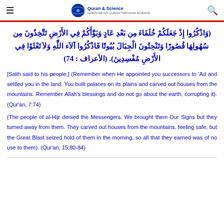Quran & Science
(وَاذْكُرُوا إِذْ جَعَلَكُمْ خُلَفَاءَ مِن بَعْدِ عَادٍ وَبَوَّأَكُمْ فِي الأَرْضِ تَتَّخِذُونَ مِن سُهُولِهَا قُصُورًا وَتَنْحِتُونَ الْجِبَالَ بُيُوتًا فَاذْكُرُوا آلاَء اللَّهِ وَلاَ تَعْثَوْا فِي الأَرْضِ مُفْسِدِينَ). (الأعراف : 74)
[Salih said to his people,] (Remember when He appointed you successors to 'Ad and settled you in the land. You built palaces on its plains and carved out houses from the mountains. Remember Allah's blessings and do not go about the earth, corrupting it). (Qur'an, 7:74)
(The people of al-Hijr denied the Messengers. We brought them Our Signs but they turned away from them. They carved out houses from the mountains, feeling safe, but the Great Blast seized hold of them in the morning, so all that they earned was of no use to them). (Qur'an, 15:80-84)